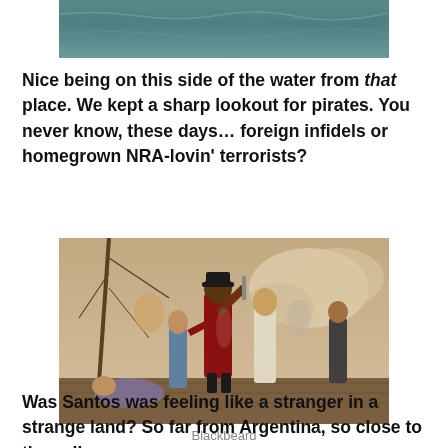[Figure (photo): Partial view of ocean water, teal-gray color, cropped at top]
Nice being on this side of the water from that place.  We kept a sharp lookout for pirates.  You never know, these days… foreign infidels or homegrown NRA-lovin' terrorists?
[Figure (illustration): Historical painting of Blackbeard the pirate in battle on a ship deck, fighting multiple figures]
Blackbeard
Was Santos was feeling like a stranger in a strange land?  So far from Argentina, so close to the evil